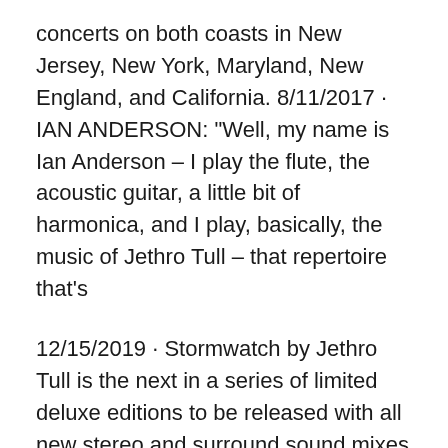concerts on both coasts in New Jersey, New York, Maryland, New England, and California. 8/11/2017 · IAN ANDERSON: "Well, my name is Ian Anderson – I play the flute, the acoustic guitar, a little bit of harmonica, and I play, basically, the music of Jethro Tull – that repertoire that's
12/15/2019 · Stormwatch by Jethro Tull is the next in a series of limited deluxe editions to be released with all new stereo and surround sound mixes vocalist and flautist Ian Anderson, guitarist Martin Barre, bassist John Glascock, keyboardist John Evan, composer David (aka Dee) Palmer and drummer Barriemore Barlow, all who helped culminate a decade of